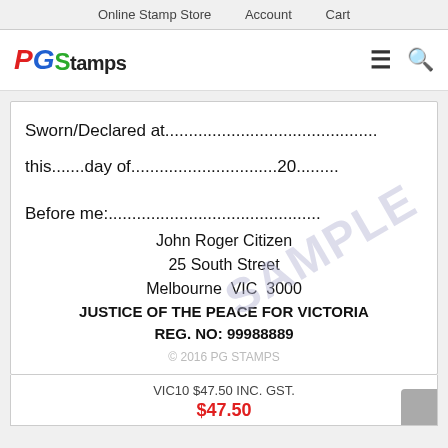Online Stamp Store   Account   Cart
[Figure (logo): PG Stamps logo with red P, blue G, and green S for Stamps wordmark]
[Figure (illustration): Stamp template showing sworn/declared fields with SAMPLE watermark and Justice of the Peace details for John Roger Citizen, 25 South Street, Melbourne VIC 3000]
VIC10 $47.50 INC. GST.
$47.50